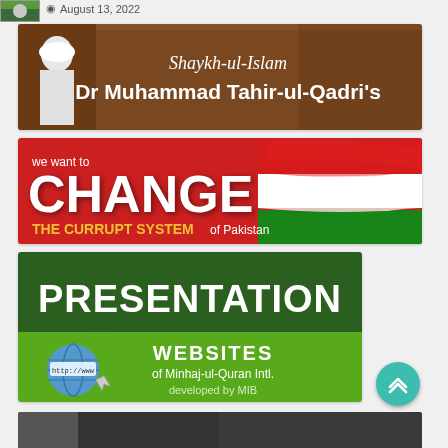[Figure (illustration): Small thumbnail image of a person on the top left]
August 13, 2022
[Figure (illustration): Banner: Shaykh-ul-Islam Dr Muhammad Tahir-ul-Qadri's — brown background with person in white Islamic dress and hat]
[Figure (illustration): Banner: we want to CHANGE THE CURRUPT SYSTEM of Pakistan — red background with Pakistan flag waving]
[Figure (illustration): Banner: PRESENTATION WEBSITES of Minhaj-ul-Quran Intl. developed by MIB — dark green and bright green background with globe icon]
[Figure (illustration): Partial banner visible at bottom of page]